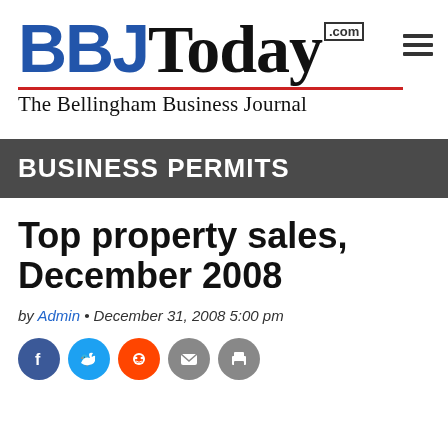[Figure (logo): BBJToday.com logo with blue BBJ, black Today, red underline, and hamburger menu icon]
The Bellingham Business Journal
BUSINESS PERMITS
Top property sales, December 2008
by Admin • December 31, 2008 5:00 pm
[Figure (illustration): Social media sharing icons: Facebook, Twitter, Reddit, Email, Print]